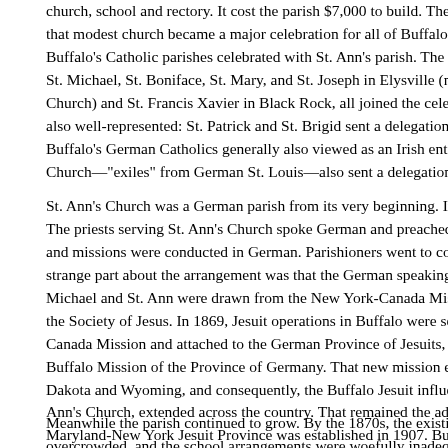church, school and rectory. It cost the parish $7,000 to build. The celebration of that modest church became a major celebration for all of Buffalo's Catholics. Buffalo's Catholic parishes celebrated with St. Ann's parish. The German parishes, St. Michael, St. Boniface, St. Mary, and St. Joseph in Elysville (now St. Gerard's Church) and St. Francis Xavier in Black Rock, all joined the celebration. Irish were also well-represented: St. Patrick and St. Brigid sent a delegation, and even though Buffalo's German Catholics generally also viewed as an Irish enterprise, All Saints Church—"exiles" from German St. Louis—also sent a delegation.
St. Ann's Church was a German parish from its very beginning. Its founding pastor The priests serving St. Ann's Church spoke German and preached in German, and missions were conducted in German. Parishioners went to confession in German. A strange part about the arrangement was that the German speaking Jesuits at St. Michael and St. Ann were drawn from the New York-Canada Mission of the Society of Jesus. In 1869, Jesuit operations in Buffalo were separated from the New York-Canada Mission and attached to the German Province of Jesuits, under the title Buffalo Mission of the Province of Germany. That new mission extended to North Dakota and Wyoming, and consequently, the Buffalo Jesuit influence, rooted in St. Ann's Church, extended across the country. That remained the administrative structure Maryland-New York Jesuit Province was established in 1907. But nothing changed the same. After Canisius High School opened at St. Michael's Church ethnic fights were routine between St. Michael's Alsatian students and St. Ann's students, Austrians.
Meanwhile the parish continued to grow. By the 1870s, the existing church was overcrowded, and the school arrangements were woefully inadequate building additions already. The plan called for a new diocesan